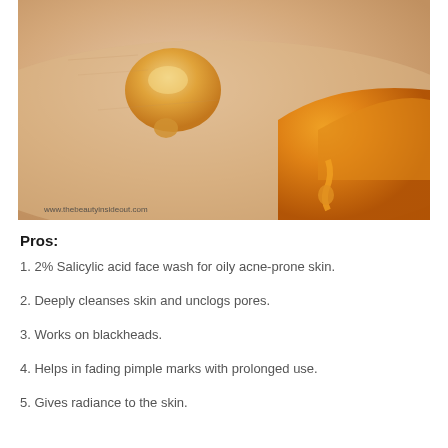[Figure (photo): Close-up macro photograph of a honey drop on skin surface, with an orange/amber honey-filled container visible in the lower right corner. Watermark reads www.thebeautyinsideout.com at the bottom left.]
Pros:
1. 2% Salicylic acid face wash for oily acne-prone skin.
2. Deeply cleanses skin and unclogs pores.
3. Works on blackheads.
4. Helps in fading pimple marks with prolonged use.
5. Gives radiance to the skin.